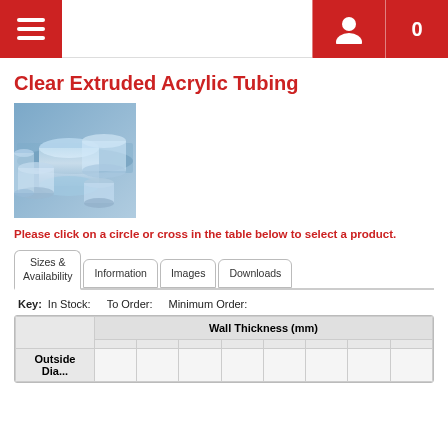Navigation header with menu, user icon, and cart (0)
Clear Extruded Acrylic Tubing
[Figure (photo): Photo of clear extruded acrylic tubes bundled together, showing transparent cylindrical tubes with bluish tint]
Please click on a circle or cross in the table below to select a product.
| Sizes & Availability | Information | Images | Downloads |
| --- | --- | --- | --- |
Key:  In Stock:   To Order:   Minimum Order:
| Outside Diameter | Wall Thickness (mm) |
| --- | --- |